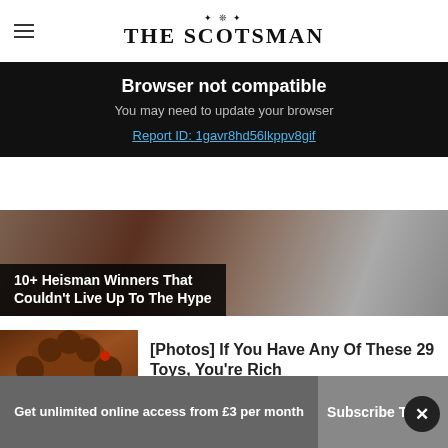THE SCOTSMAN
Browser not compatible
You may need to update your browser
Report ID: 1gavr8hd56lkppv8gif
10+ Heisman Winners That Couldn't Live Up To The Hype
[Photos] If You Have Any Of These 29 Toys, You're Rich
Food Sided
Get unlimited online access from £3 per month
Subscribe Today